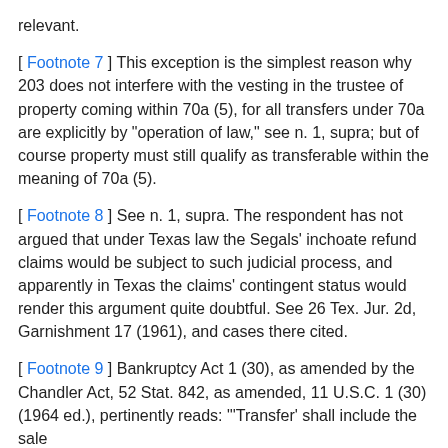relevant.
[ Footnote 7 ] This exception is the simplest reason why 203 does not interfere with the vesting in the trustee of property coming within 70a (5), for all transfers under 70a are explicitly by "operation of law," see n. 1, supra; but of course property must still qualify as transferable within the meaning of 70a (5).
[ Footnote 8 ] See n. 1, supra. The respondent has not argued that under Texas law the Segals' inchoate refund claims would be subject to such judicial process, and apparently in Texas the claims' contingent status would render this argument quite doubtful. See 26 Tex. Jur. 2d, Garnishment 17 (1961), and cases there cited.
[ Footnote 9 ] Bankruptcy Act 1 (30), as amended by the Chandler Act, 52 Stat. 842, as amended, 11 U.S.C. 1 (30) (1964 ed.), pertinently reads: "'Transfer' shall include the sale